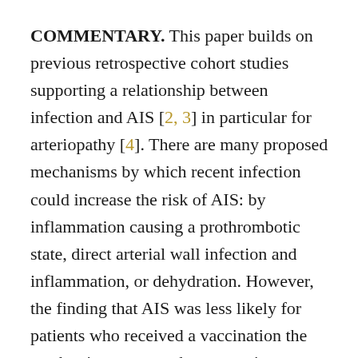COMMENTARY. This paper builds on previous retrospective cohort studies supporting a relationship between infection and AIS [2, 3] in particular for arteriopathy [4]. There are many proposed mechanisms by which recent infection could increase the risk of AIS: by inflammation causing a prothrombotic state, direct arterial wall infection and inflammation, or dehydration. However, the finding that AIS was less likely for patients who received a vaccination the week prior suggests that systemic inflammation is not the entire story. Further, URIs were the most common infection as opposed to gastroenteritis (making dehydration as a trigger less compelling), and suggesting local head and neck